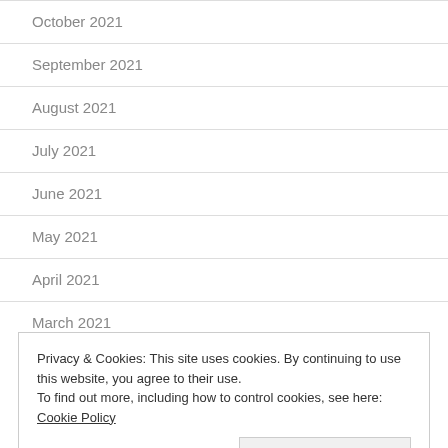October 2021
September 2021
August 2021
July 2021
June 2021
May 2021
April 2021
March 2021
Privacy & Cookies: This site uses cookies. By continuing to use this website, you agree to their use.
To find out more, including how to control cookies, see here: Cookie Policy
November 2020